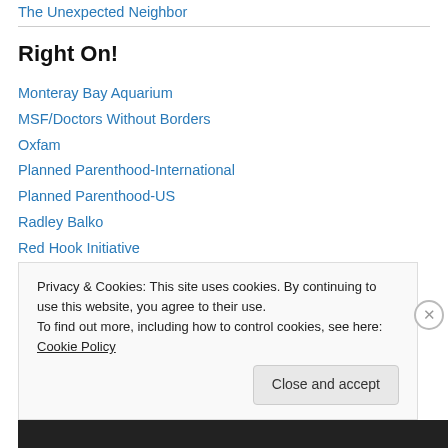The Unexpected Neighbor
Right On!
Monteray Bay Aquarium
MSF/Doctors Without Borders
Oxfam
Planned Parenthood-International
Planned Parenthood-US
Radley Balko
Red Hook Initiative
VDay
Privacy & Cookies: This site uses cookies. By continuing to use this website, you agree to their use. To find out more, including how to control cookies, see here: Cookie Policy
Close and accept